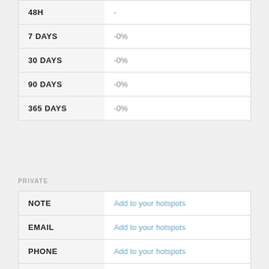|  |  |
| --- | --- |
| 48H | - |
| 7 DAYS | -0% |
| 30 DAYS | -0% |
| 90 DAYS | -0% |
| 365 DAYS | -0% |
PRIVATE
|  |  |
| --- | --- |
| NOTE | Add to your hotspots |
| EMAIL | Add to your hotspots |
| PHONE | Add to your hotspots |
| ADDRESS | Add to your hotspots |
| MONITORING | Add to your hotspots |